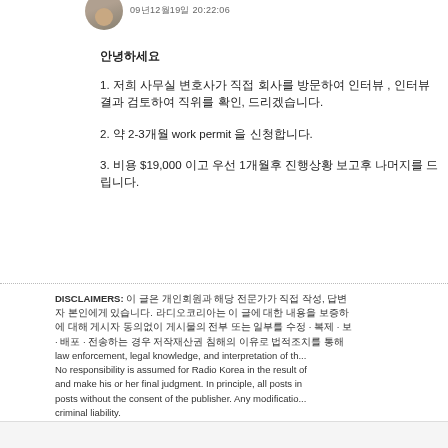09년12월19일 20:22:06
안녕하세요
1. 저희 사무실 변호사가 직접 회사를 방문하여 인터뷰 , 인터뷰 결과 검토하여 직위를 확인, 드리겠습니다.
2. 약 2-3개월 work permit 을 신청합니다.
3. 비용 $19,000 이고 우선 1개월후 진행상황 보고후 나머지를 드립니다.
DISCLAIMERS: 이 글은 개인회원과 해당 전문가가 직접 작성, 답변 자 본인에게 있습니다. 라디오코리아는 이 글에 대한 내용을 보증하 에 대해 게시자 동의없이 게시물의 전부 또는 일부를 수정 · 복제 · 배포 · 전송하는 경우 저작재산권 침해의 이유로 법적조치를 통해 law enforcement, legal knowledge, and interpretation of the No responsibility is assumed for Radio Korea in the result of and make his or her final judgment. In principle, all posts in posts without the consent of the publisher. Any modification criminal liability.